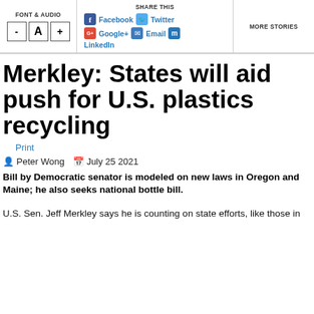FONT & AUDIO | SHARE THIS | MORE STORIES
Merkley: States will aid push for U.S. plastics recycling
Print
Peter Wong   July 25 2021
Bill by Democratic senator is modeled on new laws in Oregon and Maine; he also seeks national bottle bill.
U.S. Sen. Jeff Merkley says he is counting on state efforts, like those in